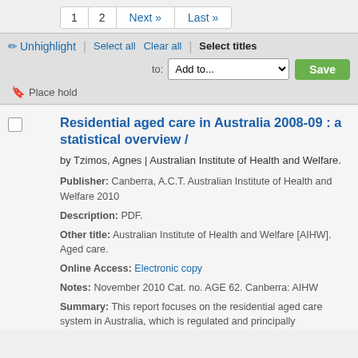1  2  Next »  Last »
✏ Unhighlight | Select all  Clear all | Select titles
to: Add to...  Save
🔖 Place hold
Residential aged care in Australia 2008-09 : a statistical overview /
by Tzimos, Agnes | Australian Institute of Health and Welfare.
Publisher: Canberra, A.C.T. Australian Institute of Health and Welfare 2010
Description: PDF.
Other title: Australian Institute of Health and Welfare [AIHW]. Aged care.
Online Access: Electronic copy
Notes: November 2010 Cat. no. AGE 62. Canberra: AIHW
Summary: This report focuses on the residential aged care system in Australia, which is regulated and principally